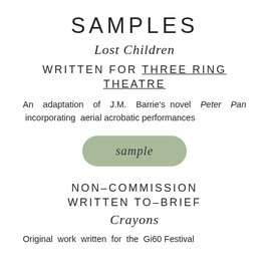SAMPLES
Lost Children
WRITTEN FOR THREE RING THEATRE
An adaptation of J.M. Barrie's novel Peter Pan incorporating aerial acrobatic performances
[Figure (other): Green rounded rectangle button with italic text 'sample']
NON–COMMISSION WRITTEN TO–BRIEF
Crayons
Original work written for the Gi60 Festival